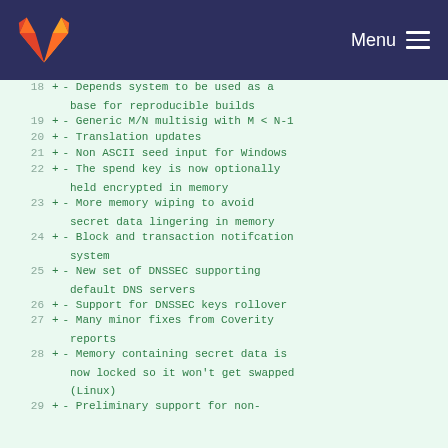GitLab — Menu
18  + - Depends system to be used as a base for reproducible builds
19  + - Generic M/N multisig with M < N-1
20  + - Translation updates
21  + - Non ASCII seed input for Windows
22  + - The spend key is now optionally held encrypted in memory
23  + - More memory wiping to avoid secret data lingering in memory
24  + - Block and transaction notifcation system
25  + - New set of DNSSEC supporting default DNS servers
26  + - Support for DNSSEC keys rollover
27  + - Many minor fixes from Coverity reports
28  + - Memory containing secret data is now locked so it won't get swapped (Linux)
29  + - Preliminary support for non-